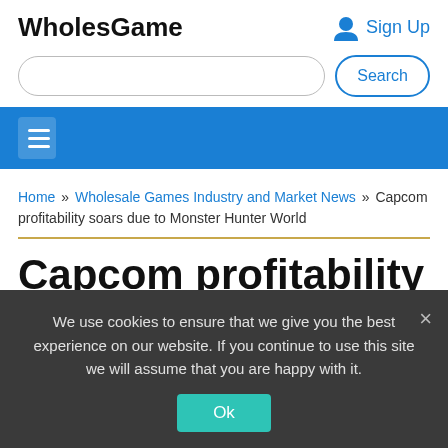WholesGame
Sign Up
Search
Home » Wholesale Games Industry and Market News » Capcom profitability soars due to Monster Hunter World
Capcom profitability soars due to Monster Hunter World
We use cookies to ensure that we give you the best experience on our website. If you continue to use this site we will assume that you are happy with it.